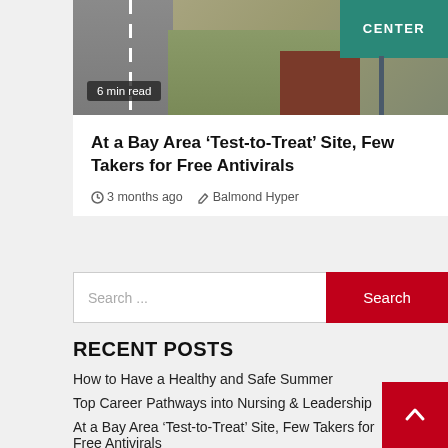[Figure (photo): Outdoor photo showing a road with a white line, grassy area, brick building, and a teal/green CENTER sign in the upper right corner. A badge reads '6 min read'.]
At a Bay Area ‘Test-to-Treat’ Site, Few Takers for Free Antivirals
3 months ago   Balmond Hyper
Search ...
RECENT POSTS
How to Have a Healthy and Safe Summer
Top Career Pathways into Nursing & Leadership
At a Bay Area ‘Test-to-Treat’ Site, Few Takers for Free Antivirals